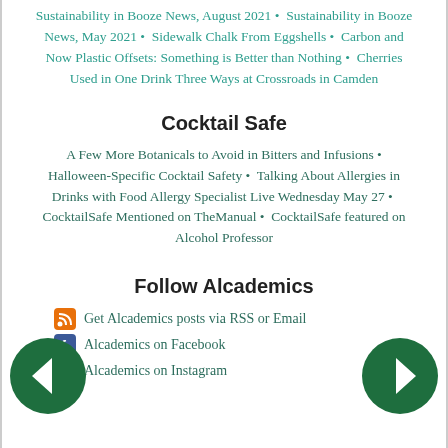Sustainability in Booze News, August 2021 · Sustainability in Booze News, May 2021 · Sidewalk Chalk From Eggshells · Carbon and Now Plastic Offsets: Something is Better than Nothing · Cherries Used in One Drink Three Ways at Crossroads in Camden
Cocktail Safe
A Few More Botanicals to Avoid in Bitters and Infusions · Halloween-Specific Cocktail Safety · Talking About Allergies in Drinks with Food Allergy Specialist Live Wednesday May 27 · CocktailSafe Mentioned on TheManual · CocktailSafe featured on Alcohol Professor
Follow Alcademics
Get Alcademics posts via RSS or Email
Alcademics on Facebook
Alcademics on Instagram